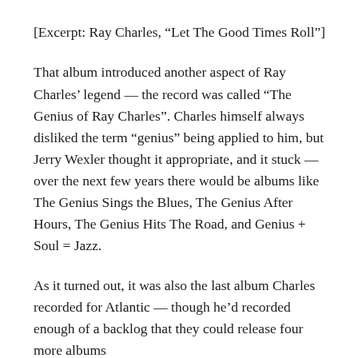[Excerpt: Ray Charles, “Let The Good Times Roll”]
That album introduced another aspect of Ray Charles’ legend — the record was called “The Genius of Ray Charles”. Charles himself always disliked the term “genius” being applied to him, but Jerry Wexler thought it appropriate, and it stuck — over the next few years there would be albums like The Genius Sings the Blues, The Genius After Hours, The Genius Hits The Road, and Genius + Soul = Jazz.
As it turned out, it was also the last album Charles recorded for Atlantic — though he’d recorded enough of a backlog that they could release four more albums